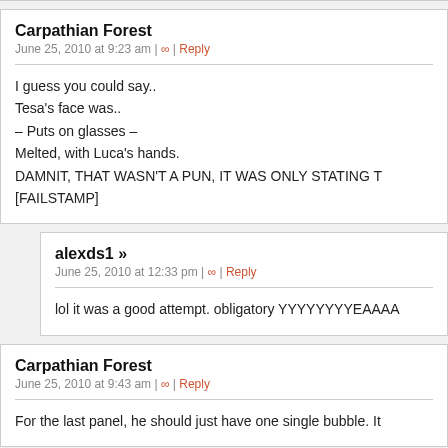Carpathian Forest
June 25, 2010 at 9:23 am | ∞ | Reply
I guess you could say..
Tesa's face was..
– Puts on glasses –
Melted, with Luca's hands.
DAMNIT, THAT WASN'T A PUN, IT WAS ONLY STATING T
[FAILSTAMP]
alexds1 »
June 25, 2010 at 12:33 pm | ∞ | Reply
lol it was a good attempt. obligatory YYYYYYYYEAAAA
Carpathian Forest
June 25, 2010 at 9:43 am | ∞ | Reply
For the last panel, he should just have one single bubble. It